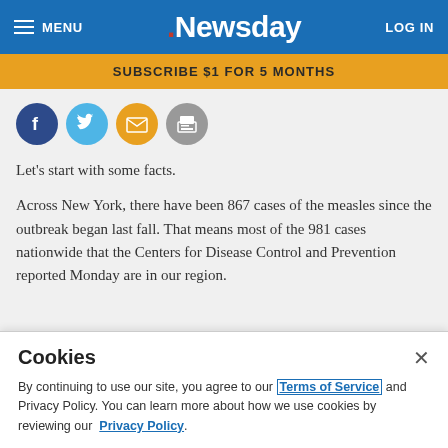MENU  .Newsday  LOG IN
SUBSCRIBE $1 FOR 5 MONTHS
[Figure (other): Social sharing icons row: Facebook (dark blue circle), Twitter (light blue circle), Email (orange circle), Print (gray circle)]
Let's start with some facts.
Across New York, there have been 867 cases of the measles since the outbreak began last fall. That means most of the 981 cases nationwide that the Centers for Disease Control and Prevention reported Monday are in our region.
Cookies  ×  By continuing to use our site, you agree to our Terms of Service and Privacy Policy. You can learn more about how we use cookies by reviewing our Privacy Policy.